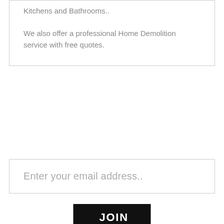Kitchens and Bathrooms.. We also offer a professional Home Demolition service with free quotes.
Enter your email address..
JOIN US